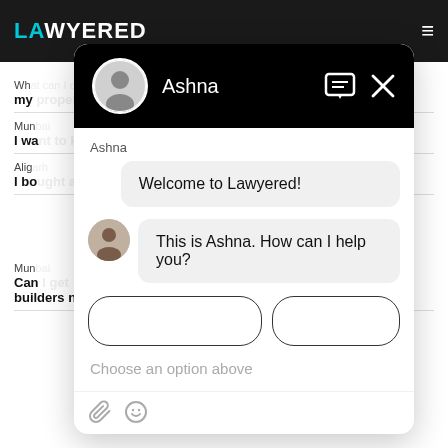[Figure (screenshot): Lawyered website background showing header with logo and hamburger menu, and partial content rows with labels and bold text]
[Figure (screenshot): Chat widget overlay with dark header showing avatar and name 'Ashna', chat messages: 'Welcome to Lawyered!' and 'This is Ashna. How can I help you?', input placeholder 'Choose an option above', and attachment/emoji icons at bottom]